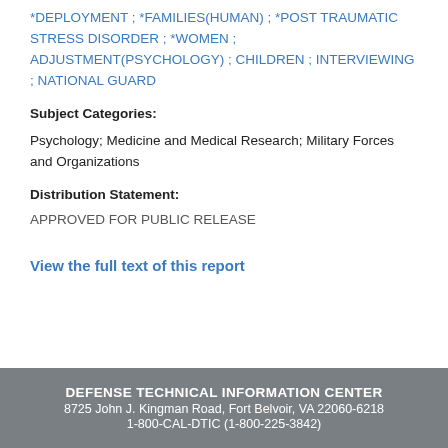*DEPLOYMENT ; *FAMILIES(HUMAN) ; *POST TRAUMATIC STRESS DISORDER ; *WOMEN ; ADJUSTMENT(PSYCHOLOGY) ; CHILDREN ; INTERVIEWING ; NATIONAL GUARD
Subject Categories:
Psychology; Medicine and Medical Research; Military Forces and Organizations
Distribution Statement:
APPROVED FOR PUBLIC RELEASE
View the full text of this report
DEFENSE TECHNICAL INFORMATION CENTER
8725 John J. Kingman Road, Fort Belvoir, VA 22060-6218
1-800-CAL-DTIC (1-800-225-3842)